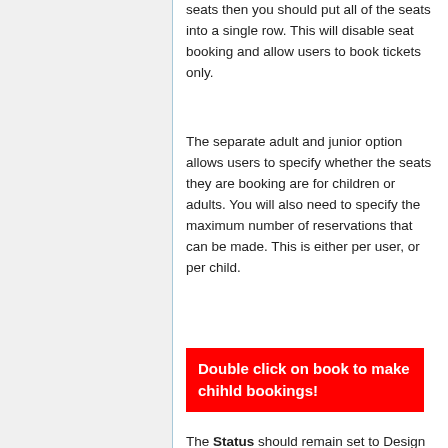seats then you should put all of the seats into a single row. This will disable seat booking and allow users to book tickets only.
The separate adult and junior option allows users to specify whether the seats they are booking are for children or adults. You will also need to specify the maximum number of reservations that can be made. This is either per user, or per child.
Double click on book to make chihld bookings!
The Status should remain set to Design for now. You should change this to Booking after you have finished configuring the Parents Evening and are